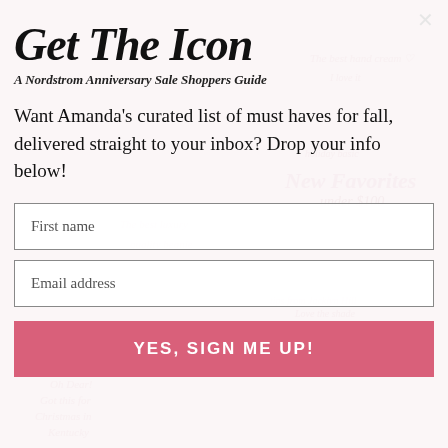[Figure (screenshot): Background collage of shopping items — striped sweater, pajama pants with hearts, sunglasses, cosmetics, holiday accessories — with decorative pink italic text overlays including 'The best hand cream', 'New Favorites under $100', 'The best luxury quality beanie', 'tips from Jacklyn Hill Love the shade', 'Oh Dear! Got this for Christmas in Kentucky']
Get The Icon
A Nordstrom Anniversary Sale Shoppers Guide
Want Amanda's curated list of must haves for fall, delivered straight to your inbox? Drop your info below!
First name
Email address
YES, SIGN ME UP!